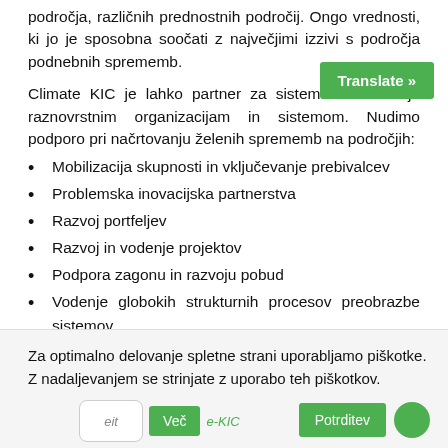sposobna soočati z največjimi izzivi s področja podnebnih sprememb.
Climate KIC je lahko partner za sistemsko inoviranje raznovrstnim organizacijam in sistemom. Nudimo podporo pri načrtovanju želenih sprememb na področjih:
Mobilizacija skupnosti in vključevanje prebivalcev
Problemska inovacijska partnerstva
Razvoj portfeljev
Razvoj in vodenje projektov
Podpora zagonu in razvoju pobud
Vodenje globokih strukturnih procesov preobrazbe sistemov
Za optimalno delovanje spletne strani uporabljamo piškotke. Z nadaljevanjem se strinjate z uporabo teh piškotkov.